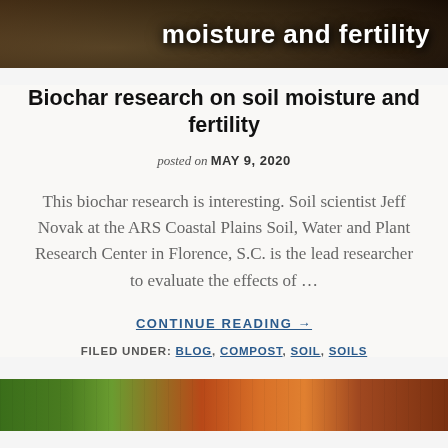[Figure (photo): Partial photo of soil/rocks with overlaid text showing 'moisture and fertility' in white bold text on a dark background]
Biochar research on soil moisture and fertility
posted on MAY 9, 2020
This biochar research is interesting. Soil scientist Jeff Novak at the ARS Coastal Plains Soil, Water and Plant Research Center in Florence, S.C. is the lead researcher to evaluate the effects of …
CONTINUE READING →
FILED UNDER: BLOG, COMPOST, SOIL, SOILS
[Figure (photo): Partial photo of vegetables and compost materials at the bottom of the page]